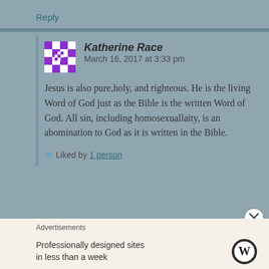Reply
Katherine Race   March 16, 2017 at 3:33 pm
Jesus is also pure,holy, and righteous. He is the living Word of God just as the Bible is the written Word of God. All sin, including homosexuallaity, is an abomination to God as it is written in the Bible.
Liked by 1 person
Advertisements
Professionally designed sites in less than a week